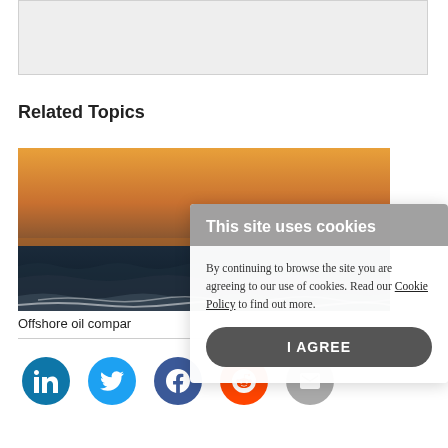[Figure (other): Gray placeholder box at top of page]
Related Topics
[Figure (photo): Ocean sunset photo — orange sky above dark ocean waves]
Offshore oil compa…
[Figure (screenshot): Cookie consent overlay: 'This site uses cookies' header, body text 'By continuing to browse the site you are agreeing to our use of cookies. Read our Cookie Policy to find out more.', and an 'I AGREE' button]
[Figure (other): Social media sharing strip with LinkedIn, Twitter, Facebook, Reddit, and Email icons]